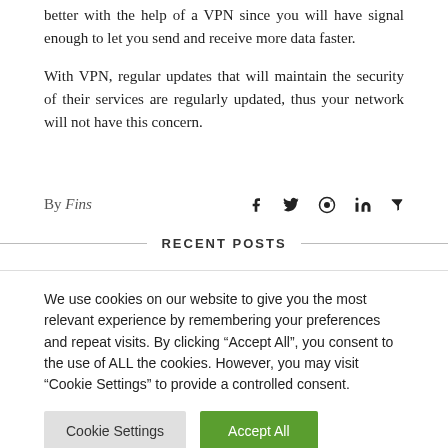better with the help of a VPN since you will have signal enough to let you send and receive more data faster.
With VPN, regular updates that will maintain the security of their services are regularly updated, thus your network will not have this concern.
By Fins
RECENT POSTS
We use cookies on our website to give you the most relevant experience by remembering your preferences and repeat visits. By clicking “Accept All”, you consent to the use of ALL the cookies. However, you may visit "Cookie Settings" to provide a controlled consent.